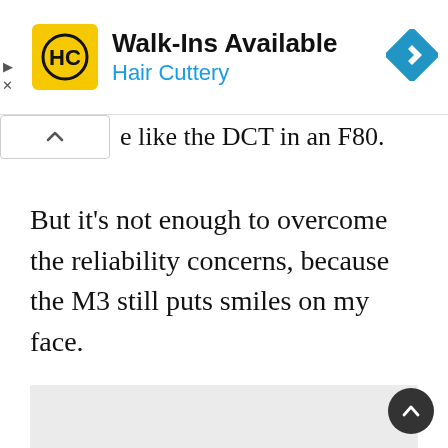[Figure (screenshot): Hair Cuttery ad banner with HC logo, text 'Walk-Ins Available / Hair Cuttery', and a blue navigation diamond icon on the right. Play and X controls on the far left.]
e like the DCT in an F80.
But it's not enough to overcome the reliability concerns, because the M3 still puts smiles on my face.
[Figure (other): Gray placeholder rectangle (advertisement or image placeholder)]
[Figure (other): Blurred/watermarked bottom section of page with scroll-to-top button]